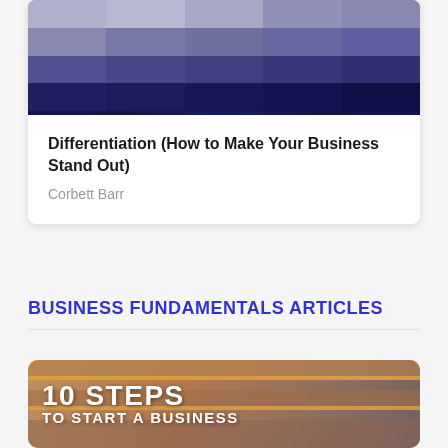[Figure (photo): Dark blue/purple gradient image at top of card, appears to be a blurred or abstract background]
Differentiation (How to Make Your Business Stand Out)
Corbett Barr
BUSINESS FUNDAMENTALS ARTICLES
[Figure (photo): Photo of person walking up wooden steps/stairs with text overlay reading '10 STEPS TO START A BUSINESS']